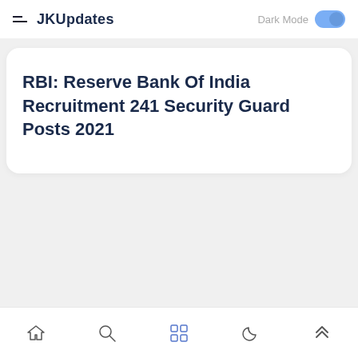JKUpdates
RBI: Reserve Bank Of India Recruitment 241 Security Guard Posts 2021
Home Search Categories Night Mode Top